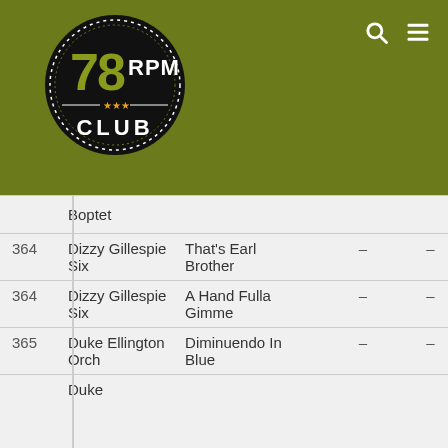[Figure (logo): 78 RPM Club circular logo with olive/dark green background, white dotted border, olive-colored '78' text, white 'RPM' text, gold stars, and white 'CLUB' text]
| # | Artist | Title | Col1 | Col2 |
| --- | --- | --- | --- | --- |
|  | Boptet |  |  |  |
| 364 | Dizzy Gillespie Six | That's Earl Brother | – | – |
| 364 | Dizzy Gillespie Six | A Hand Fulla Gimme | – | – |
| 365 | Duke Ellington Orch | Diminuendo In Blue | – | – |
|  | Duke | ... |  |  |